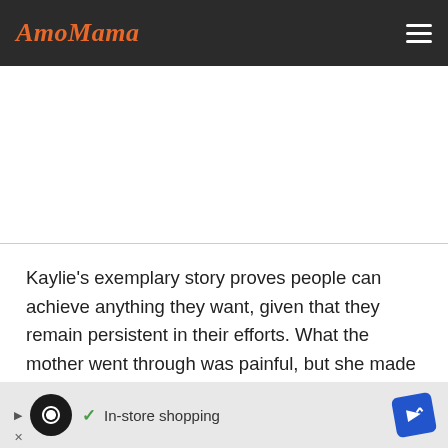AmoMama
Kaylie's exemplary story proves people can achieve anything they want, given that they remain persistent in their efforts. What the mother went through was painful, but she made sure not to give up because having babies was a dream for her.
Click here to read another story about a woman who became a mother to babies born 12 weeks apart after
[Figure (other): Advertisement banner with In-store shopping text, loop icon, checkmark, play button, and blue navigation arrow icon]